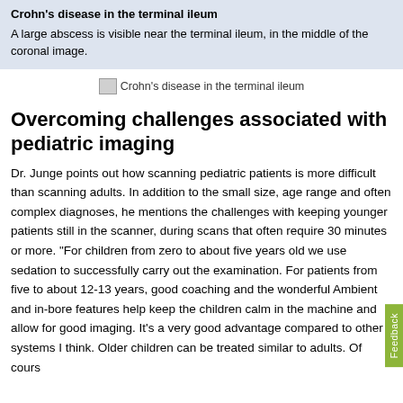Crohn's disease in the terminal ileum
A large abscess is visible near the terminal ileum, in the middle of the coronal image.
[Figure (photo): Medical image placeholder: Crohn's disease in the terminal ileum]
Overcoming challenges associated with pediatric imaging
Dr. Junge points out how scanning pediatric patients is more difficult than scanning adults. In addition to the small size, age range and often complex diagnoses, he mentions the challenges with keeping younger patients still in the scanner, during scans that often require 30 minutes or more. “For children from zero to about five years old we use sedation to successfully carry out the examination. For patients from five to about 12-13 years, good coaching and the wonderful Ambient and in-bore features help keep the children calm in the machine and allow for good imaging. It’s a very good advantage compared to other systems I think. Older children can be treated similar to adults. Of course